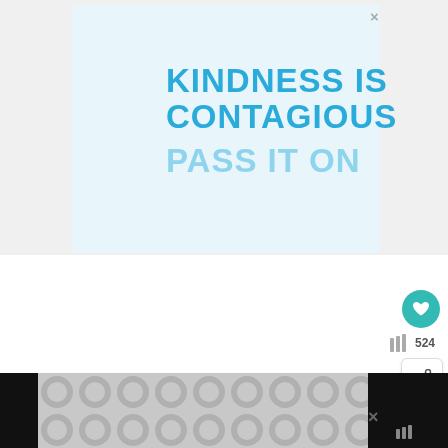[Figure (infographic): Light blue card with motivational text: KINDNESS IS CONTAGIOUS in dark blue bold uppercase, PASS IT ON in lighter blue below, on a pale blue background]
×
524
[Figure (infographic): Bottom advertisement banner with grey dot/circle pattern on dark background with close (x) button]